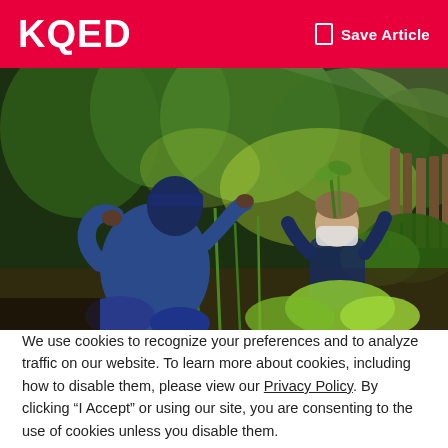KQED   Save Article
[Figure (photo): Two people working in a garden. One person in a blue hoodie and beanie hat crouches in the foreground with back to camera, while another person wearing a face mask holds plant cuttings in a sunlit, lush garden setting with trees and wooden fence in the background.]
We use cookies to recognize your preferences and to analyze traffic on our website. To learn more about cookies, including how to disable them, please view our Privacy Policy. By clicking “I Accept” or using our site, you are consenting to the use of cookies unless you disable them.
I Accept